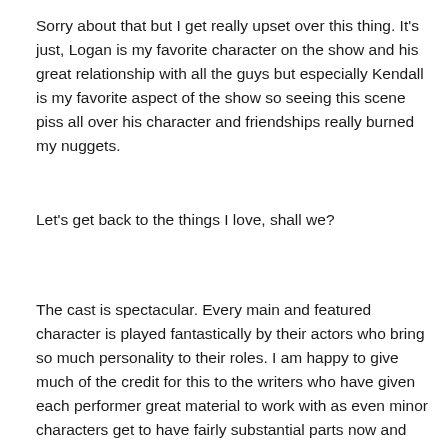Sorry about that but I get really upset over this thing. It’s just, Logan is my favorite character on the show and his great relationship with all the guys but especially Kendall is my favorite aspect of the show so seeing this scene piss all over his character and friendships really burned my nuggets.
Let’s get back to the things I love, shall we?
The cast is spectacular. Every main and featured character is played fantastically by their actors who bring so much personality to their roles. I am happy to give much of the credit for this to the writers who have given each performer great material to work with as even minor characters get to have fairly substantial parts now and